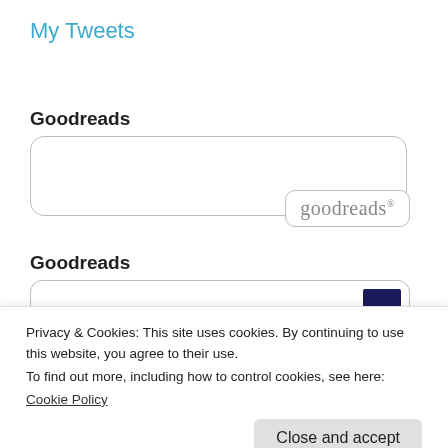My Tweets
Goodreads
[Figure (screenshot): Goodreads widget box with goodreads logo inside a rounded rectangle]
Goodreads
[Figure (screenshot): Second Goodreads widget box with a dark book thumbnail on the right]
Privacy & Cookies: This site uses cookies. By continuing to use this website, you agree to their use.
To find out more, including how to control cookies, see here:
Cookie Policy
Close and accept
by Scott Galloway